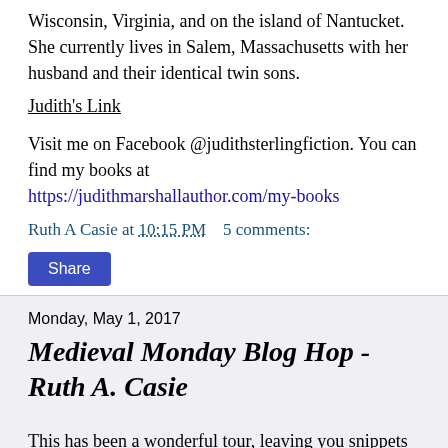Wisconsin, Virginia, and on the island of Nantucket. She currently lives in Salem, Massachusetts with her husband and their identical twin sons.
Judith's Link
Visit me on Facebook @judithsterlingfiction. You can find my books at https://judithmarshallauthor.com/my-books
Ruth A Casie at 10:15 PM   5 comments:
Share
Monday, May 1, 2017
Medieval Monday Blog Hop - Ruth A. Casie
This has been a wonderful tour, leaving you snippets of the story and finishing it up back here. I hope you